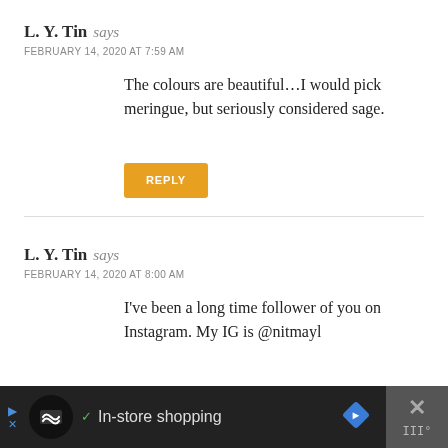L. Y. Tin says
FEBRUARY 14, 2020 AT 7:59 AM
The colours are beautiful…I would pick meringue, but seriously considered sage.
REPLY
L. Y. Tin says
FEBRUARY 14, 2020 AT 8:00 AM
I've been a long time follower of you on Instagram. My IG is @nitmayl
REPLY
[Figure (other): Advertisement bar with logo and In-store shopping text]